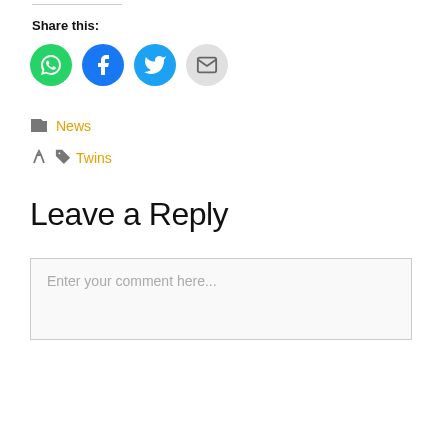Share this:
[Figure (infographic): Four social share icon circles: WhatsApp (green), Facebook (blue), Twitter (light blue), Email (gray)]
News
Twins
Leave a Reply
Enter your comment here...